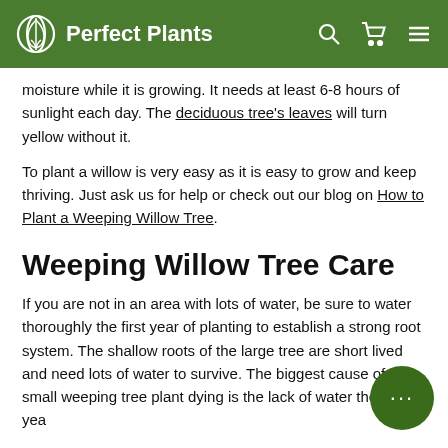Perfect Plants
moisture while it is growing. It needs at least 6-8 hours of sunlight each day. The deciduous tree's leaves will turn yellow without it.
To plant a willow is very easy as it is easy to grow and keep thriving. Just ask us for help or check out our blog on How to Plant a Weeping Willow Tree.
Weeping Willow Tree Care
If you are not in an area with lots of water, be sure to water thoroughly the first year of planting to establish a strong root system. The shallow roots of the large tree are short lived and need lots of water to survive. The biggest cause of a small weeping tree plant dying is the lack of water the first year.
The Weeping Willow plant prefers moist soil types that are well draining and does best in full sun to partial shade. Applying a slow